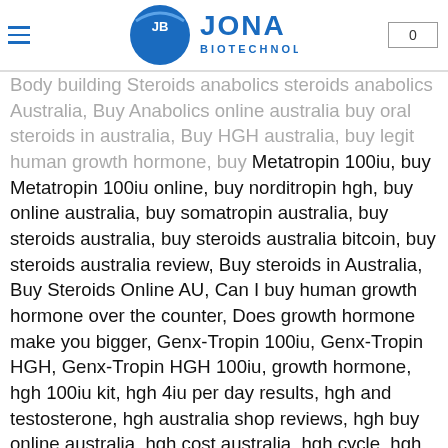Jona Biotechnology logo, hamburger menu, cart (0)
Body building Steroids anabolics steroids anabolics Australia, Buy Anabolics online australia buy oral steroids in australia, Buy HGH australia, buy legit human growth hormone, buy Metatropin 100iu, buy Metatropin 100iu online, buy norditropin hgh, buy online australia, buy somatropin australia, buy steroids australia, buy steroids australia bitcoin, buy steroids australia review, Buy steroids in Australia, Buy Steroids Online AU, Can I buy human growth hormone over the counter, Does growth hormone make you bigger, Genx-Tropin 100iu, Genx-Tropin HGH, Genx-Tropin HGH 100iu, growth hormone, hgh 100iu kit, hgh 4iu per day results, hgh and testosterone, hgh australia shop reviews, hgh buy online australia, hgh cost australia, hgh cycle, hgh for sale, hgh for sale australia, Hgh for sale in australia, hgh hormone, hgh injections, hgh injections australia, HGH injections for sale online, hgh pens australia, hgh side effects, hgh supplements australia, hgh supplier australia, hgh supplier australia how to get prescribed hgh in australia, how can i get hgh from my doctor australia, How can I get HGH in Australia, How much HGH do I need to build muscle, how to get prescribed hgh, Human Growth HGH, human growth hormone before and after, human growth hormone benefits, human growth hormone bodybuilding, human growth hormone bodybuilding cycle, human growth hormone bodybuilding dosage, human growth hormone bodybuilding for sale, human growth hormone buy, human growth hormone cost australia,